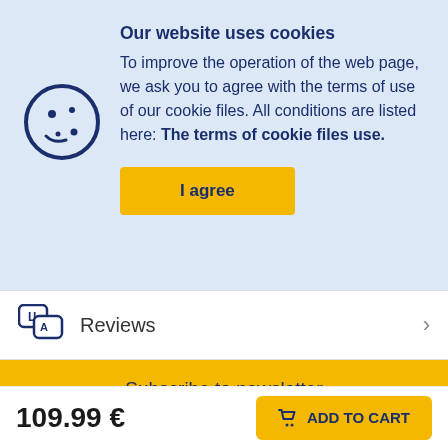Our website uses cookies
To improve the operation of the web page, we ask you to agree with the terms of use of our cookie files. All conditions are listed here: The terms of cookie files use.
I agree
Reviews
Subscribe to newsletter
Enter your e-mail address
109.99 €
ADD TO CART